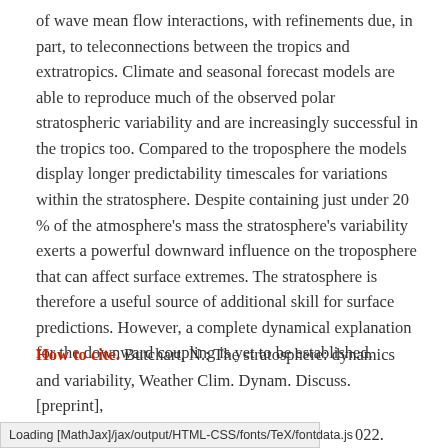of wave mean flow interactions, with refinements due, in part, to teleconnections between the tropics and extratropics. Climate and seasonal forecast models are able to reproduce much of the observed polar stratospheric variability and are increasingly successful in the tropics too. Compared to the troposphere the models display longer predictability timescales for variations within the stratosphere. Despite containing just under 20 % of the atmosphere's mass the stratosphere's variability exerts a powerful downward influence on the troposphere that can affect surface extremes. The stratosphere is therefore a useful source of additional skill for surface predictions. However, a complete dynamical explanation for the downward coupling is yet to be established.
How to cite. Butchart, N.: The stratosphere: dynamics and variability, Weather Clim. Dynam. Discuss. [preprint],
Loading [MathJax]/jax/output/HTML-CSS/fonts/TeX/fontdata.js